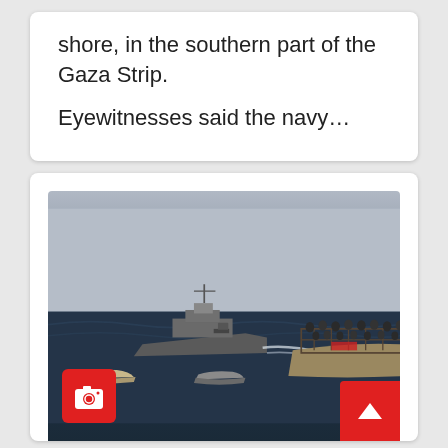shore, in the southern part of the Gaza Strip.
Eyewitnesses said the navy…
[Figure (photo): A naval vessel speeding through open sea on the left, and a crowded civilian boat on the right, with smaller boats in the foreground. Camera icon overlay in bottom-left, scroll-to-top red button in bottom-right.]